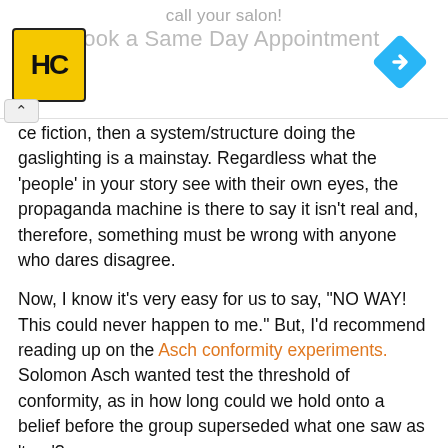[Figure (other): Advertisement banner with 'call your salon!' text, HC yellow logo, blue diamond navigation arrow, and 'Book a Same Day Appointment' text]
ce fiction, then a system/structure doing the gaslighting is a mainstay. Regardless what the 'people' in your story see with their own eyes, the propaganda machine is there to say it isn't real and, therefore, something must be wrong with anyone who dares disagree.
Now, I know it's very easy for us to say, "NO WAY! This could never happen to me." But, I'd recommend reading up on the Asch conformity experiments. Solomon Asch wanted test the threshold of conformity, as in how long could we hold onto a belief before the group superseded what one saw as 'true'?
To real life